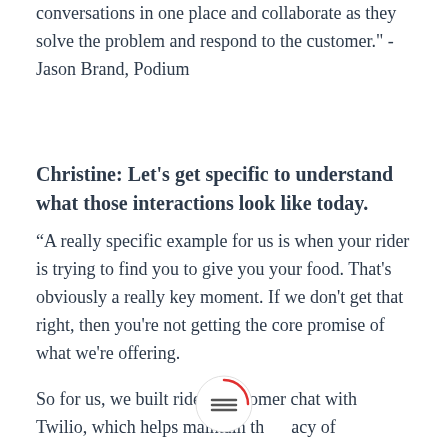conversations in one place and collaborate as they solve the problem and respond to the customer." - Jason Brand, Podium
Christine: Let's get specific to understand what those interactions look like today.
“A really specific example for us is when your rider is trying to find you to give you your food. That's obviously a really key moment. If we don't get that right, then you're not getting the core promise of what we're offering.
So for us, we built rider-customer chat with Twilio, which helps maintain the privacy of everybody in that